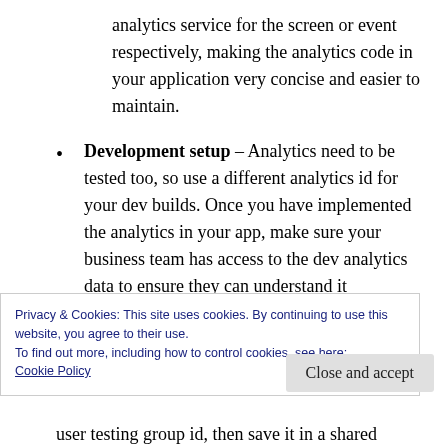analytics service for the screen or event respectively, making the analytics code in your application very concise and easier to maintain.
Development setup – Analytics need to be tested too, so use a different analytics id for your dev builds. Once you have implemented the analytics in your app, make sure your business team has access to the dev analytics data to ensure they can understand it
Privacy & Cookies: This site uses cookies. By continuing to use this website, you agree to their use.
To find out more, including how to control cookies, see here:
Cookie Policy
Close and accept
user testing group id, then save it in a shared